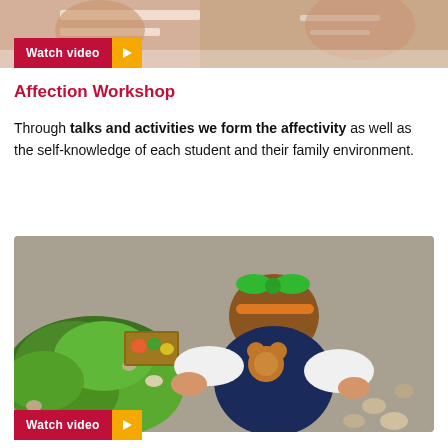[Figure (photo): Top portion of a photo showing people, partially visible, with a 'Watch video' button overlay at the bottom left]
Affection Workshop
Through talks and activities we form the affectivity as well as the self-knowledge of each student and their family environment.
[Figure (photo): A child in a school uniform with a green bow leaning over a garden bed with green plants and small rocks, viewed from above.]
Watch video